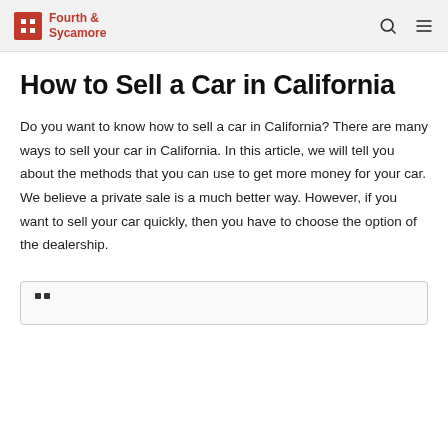Fourth & Sycamore
How to Sell a Car in California
Do you want to know how to sell a car in California? There are many ways to sell your car in California. In this article, we will tell you about the methods that you can use to get more money for your car. We believe a private sale is a much better way. However, if you want to sell your car quickly, then you have to choose the option of the dealership.